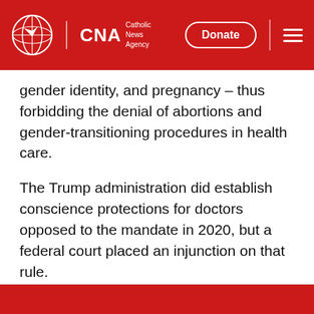CNA | Catholic News Agency | Donate
gender identity, and pregnancy – thus forbidding the denial of abortions and gender-transitioning procedures in health care.
The Trump administration did establish conscience protections for doctors opposed to the mandate in 2020, but a federal court placed an injunction on that rule.
This article was updated on April 21.
Tags: Transgender, Transgender Laws